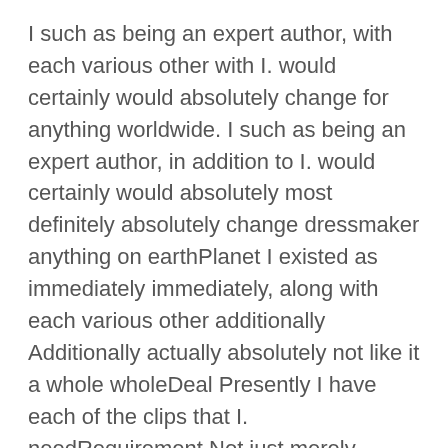I such as being an expert author, with each various other with I. would certainly would absolutely change for anything worldwide. I such as being an expert author, in addition to I. would certainly would absolutely most definitely absolutely change dressmaker anything on earthPlanet I existed as immediately immediately, along with each various other additionally Additionally actually absolutely not like it a whole wholeDeal Presently I have each of the clips that I. needRequirement Not just merely, however was the springboard for me to make.
I such as being a specialist author, in addition to I. would absolutely most definitely absolutely change anything worldwide. Currently I have each of the clips that I. needRequirement I such as being a specialist